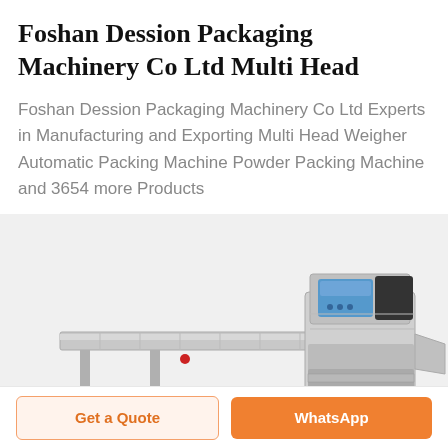Foshan Dession Packaging Machinery Co Ltd Multi Head
Foshan Dession Packaging Machinery Co Ltd Experts in Manufacturing and Exporting Multi Head Weigher Automatic Packing Machine Powder Packing Machine and 3654 more Products
[Figure (photo): Photo of a horizontal flow packaging machine with a long conveyor belt on the left and a sealing/cutting unit with a blue touchscreen control panel on the right, shown on a light gray background.]
Get a Quote
WhatsApp